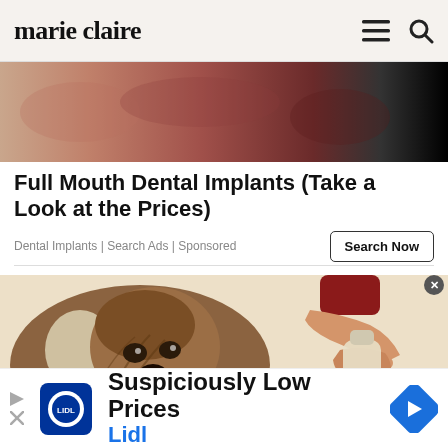marie claire
[Figure (photo): Close-up photo of skin, pinkish-red tones with dark area on the right edge]
Full Mouth Dental Implants (Take a Look at the Prices)
Dental Implants | Search Ads | Sponsored
[Figure (illustration): Illustrated image of a shaggy brown and white dog looking at a hand pouring liquid from a glass bottle]
[Figure (logo): Lidl advertisement banner with Lidl logo, text 'Suspiciously Low Prices' and 'Lidl', and a blue navigation arrow icon]